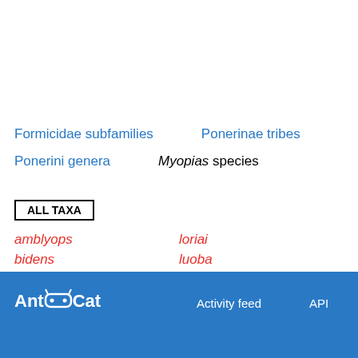Formicidae subfamilies
Ponerinae tribes
Ponerini genera
Myopias species
ALL TAXA
loriai
amblyops
luoba
bidens
maligna
breviloba
mandibularis
castaneicola
mayri
chapmani
media
Ant Cat   Activity feed   API